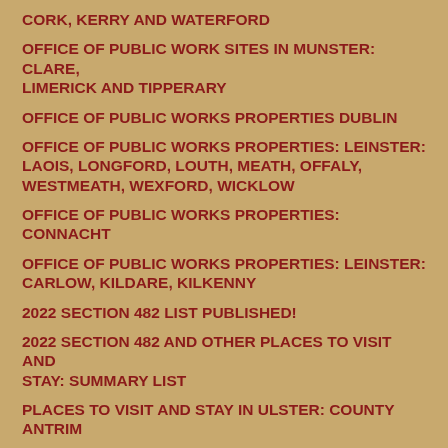CORK, KERRY AND WATERFORD
OFFICE OF PUBLIC WORK SITES IN MUNSTER: CLARE, LIMERICK AND TIPPERARY
OFFICE OF PUBLIC WORKS PROPERTIES DUBLIN
OFFICE OF PUBLIC WORKS PROPERTIES: LEINSTER: LAOIS, LONGFORD, LOUTH, MEATH, OFFALY, WESTMEATH, WEXFORD, WICKLOW
OFFICE OF PUBLIC WORKS PROPERTIES: CONNACHT
OFFICE OF PUBLIC WORKS PROPERTIES: LEINSTER: CARLOW, KILDARE, KILKENNY
2022 SECTION 482 LIST PUBLISHED!
2022 SECTION 482 AND OTHER PLACES TO VISIT AND STAY: SUMMARY LIST
PLACES TO VISIT AND STAY IN ULSTER: COUNTY ANTRIM
PLACES TO VISIT AND STAY IN ULSTER: COUNTIES ARMAGH, CAVAN, DERRY, DONEGAL AND DOWN
PLACES TO VISIT AND STAY IN ULSTER: COUNTIES